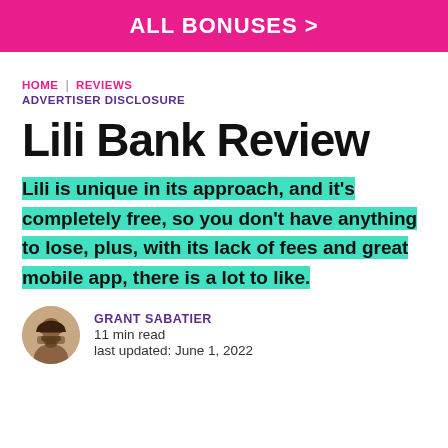ALL BONUSES >
HOME | REVIEWS ADVERTISER DISCLOSURE
Lili Bank Review
Lili is unique in its approach, and it's completely free, so you don't have anything to lose, plus, with its lack of fees and great mobile app, there is a lot to like.
GRANT SABATIER
11 min read
last updated: June 1, 2022